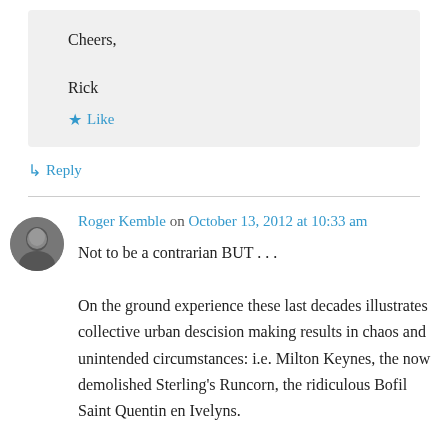Cheers,

Rick
★ Like
↳ Reply
Roger Kemble on October 13, 2012 at 10:33 am
Not to be a contrarian BUT . . .

On the ground experience these last decades illustrates collective urban descision making results in chaos and unintended circumstances: i.e. Milton Keynes, the now demolished Sterling's Runcorn, the ridiculous Bofil Saint Quentin en Ivelyns.